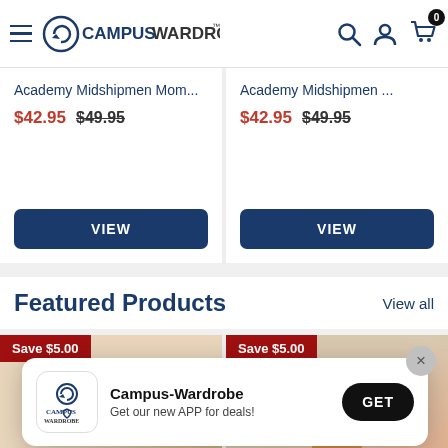Campus Wardrobe — hamburger menu, logo, search, account, cart (0)
Academy Midshipmen Mom...
$42.95  $49.95
VIEW
Academy Midshipmen ...
$42.95  $49.95
VIEW
Featured Products
View all
[Figure (photo): Featured product card left with Save $5.00 badge and product image (dog stuffed animal)]
[Figure (photo): Featured product card right with Save $5.00 badge and product image (woman wearing item)]
[Figure (screenshot): App download popup: Campus-Wardrobe logo, text 'Campus-Wardrobe — Get our new APP for deals!', GET button, close X button]